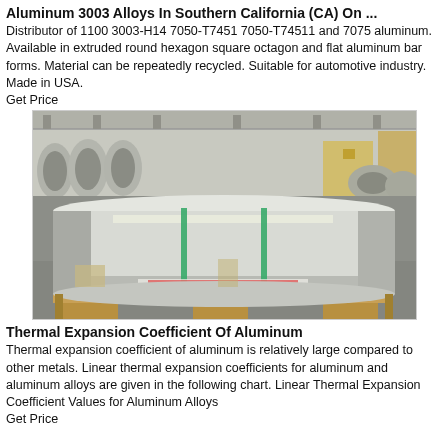Aluminum 3003 Alloys In Southern California (CA) On ...
Distributor of 1100 3003-H14 7050-T7451 7050-T74511 and 7075 aluminum. Available in extruded round hexagon square octagon and flat aluminum bar forms. Material can be repeatedly recycled. Suitable for automotive industry. Made in USA.
Get Price
[Figure (photo): Large aluminum roll/coil on a wooden pallet inside an industrial warehouse facility. The cylindrical aluminum roll is silver-colored with green strapping bands around it. Warehouse background shows more aluminum coils on the floor.]
Thermal Expansion Coefficient Of Aluminum
Thermal expansion coefficient of aluminum is relatively large compared to other metals. Linear thermal expansion coefficients for aluminum and aluminum alloys are given in the following chart. Linear Thermal Expansion Coefficient Values for Aluminum Alloys
Get Price